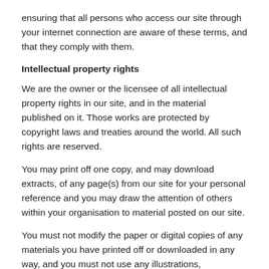ensuring that all persons who access our site through your internet connection are aware of these terms, and that they comply with them.
Intellectual property rights
We are the owner or the licensee of all intellectual property rights in our site, and in the material published on it. Those works are protected by copyright laws and treaties around the world. All such rights are reserved.
You may print off one copy, and may download extracts, of any page(s) from our site for your personal reference and you may draw the attention of others within your organisation to material posted on our site.
You must not modify the paper or digital copies of any materials you have printed off or downloaded in any way, and you must not use any illustrations, photographs, video or audio sequences or any graphics separately from any accompanying text.